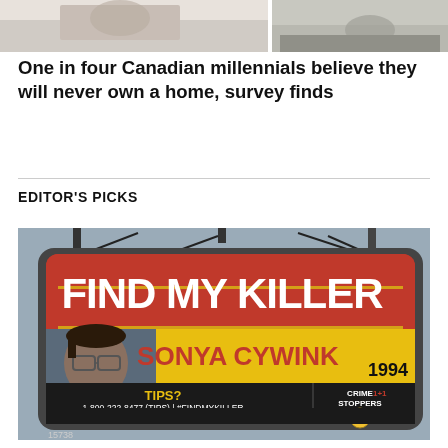[Figure (photo): Cropped top portion of a news article page showing partial photos at the top]
One in four Canadian millennials believe they will never own a home, survey finds
EDITOR'S PICKS
[Figure (photo): Billboard advertisement reading 'FIND MY KILLER - SONYA CYWINK 1994' with a photo of a woman and Crime Stoppers contact info: TIPS? 1-800-222-8477 (TIPS) | #FINDMYKILLER LONDONCRIMESTOPPERS.COM with OPP logo]